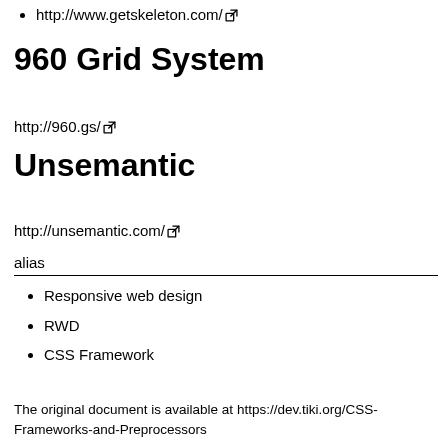http://www.getskeleton.com/
960 Grid System
http://960.gs/
Unsemantic
http://unsemantic.com/
alias
Responsive web design
RWD
CSS Framework
The original document is available at https://dev.tiki.org/CSS-Frameworks-and-Preprocessors